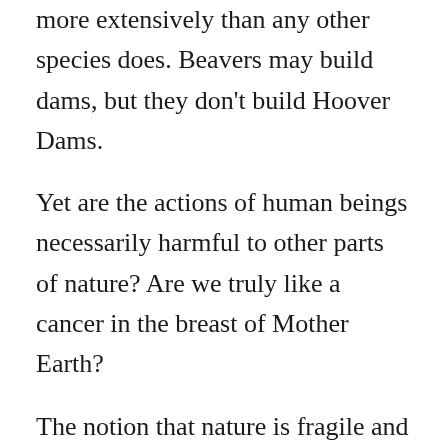more extensively than any other species does. Beavers may build dams, but they don't build Hoover Dams.
Yet are the actions of human beings necessarily harmful to other parts of nature? Are we truly like a cancer in the breast of Mother Earth?
The notion that nature is fragile and humans a threat dates back a lot further than 1970 and the first Earth Day chastisements. The theologian Tertullian, in his treatise On the Testimony of the Soul, was horrified by the fact that humans had “become a burden to the Earth” and that “the Earth can no longer support us.” This treatise was written over 1,800 years ago, when the global population was a mere 3% of what it is